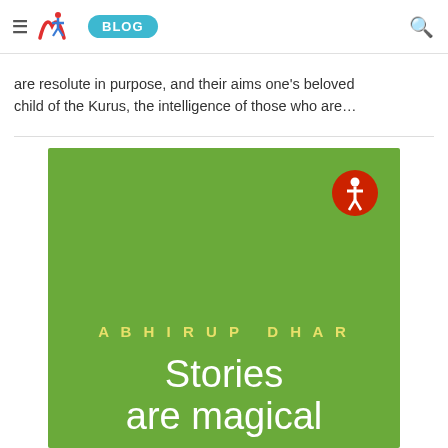≡ M BLOG 🔍
are resolute in purpose, and their aims one's beloved child of the Kurus, the intelligence of those who are…
[Figure (illustration): Book cover for 'Stories are magical' by Abhirup Dhar. Green background with publisher logo (red circle with white figure) in top right. Author name in yellow spaced capitals 'ABHIRUP DHAR' and title in large white serif font 'Stories are magical'.]